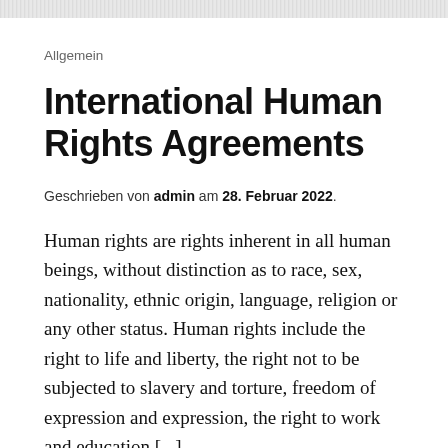Allgemein
Allgemein
International Human Rights Agreements
Geschrieben von admin am 28. Februar 2022.
Human rights are rights inherent in all human beings, without distinction as to race, sex, nationality, ethnic origin, language, religion or any other status. Human rights include the right to life and liberty, the right not to be subjected to slavery and torture, freedom of expression and expression, the right to work and education [...]